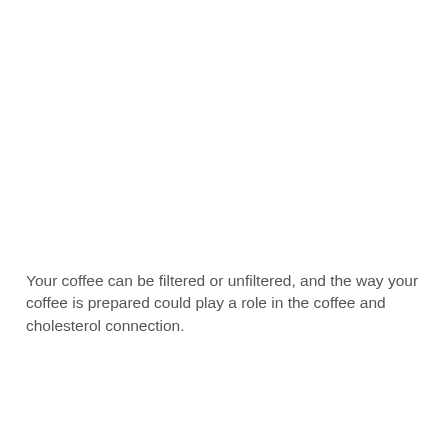Your coffee can be filtered or unfiltered, and the way your coffee is prepared could play a role in the coffee and cholesterol connection.